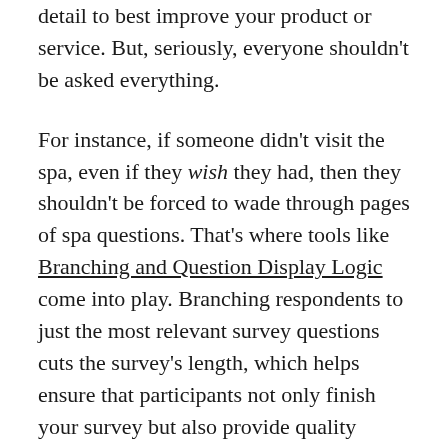detail to best improve your product or service. But, seriously, everyone shouldn't be asked everything.
For instance, if someone didn't visit the spa, even if they wish they had, then they shouldn't be forced to wade through pages of spa questions. That's where tools like Branching and Question Display Logic come into play. Branching respondents to just the most relevant survey questions cuts the survey's length, which helps ensure that participants not only finish your survey but also provide quality feedback. It's a win-win situation.